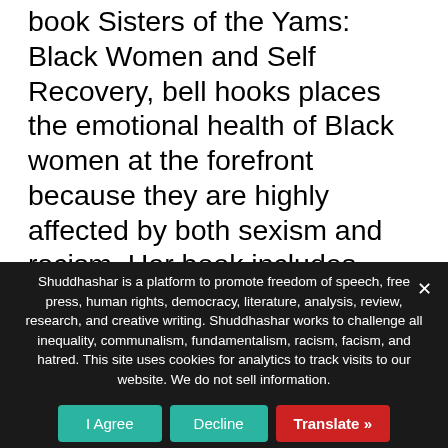book Sisters of the Yams: Black Women and Self Recovery, bell hooks places the emotional health of Black women at the forefront because they are highly affected by both sexism and racism. Her book includes essays, personal narratives, and her famous cultural critiques, providing ways for Black woman to find recovery within themselves. Finding inner peace gives us strength to manage everyday dealings.
Shuddhashar is a platform to promote freedom of speech, free press, human rights, democracy, literature, analysis, review, research, and creative writing. Shuddhashar works to challenge all inequality, communalism, fundamentalism, racism, facism, and hatred. This site uses cookies for analytics to track visits to our website. We do not sell information.